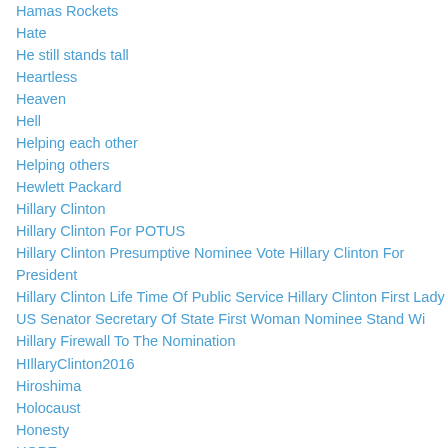Hamas Rockets
Hate
He still stands tall
Heartless
Heaven
Hell
Helping each other
Helping others
Hewlett Packard
Hillary Clinton
Hillary Clinton For POTUS
Hillary Clinton Presumptive Nominee Vote Hillary Clinton For President
Hillary Clinton Life Time Of Public Service Hillary Clinton First Lady US Senator Secretary Of State First Woman Nominee Stand Wi
Hillary Firewall To The Nomination
HIllaryClinton2016
Hiroshima
Holocaust
Honesty
HOPE